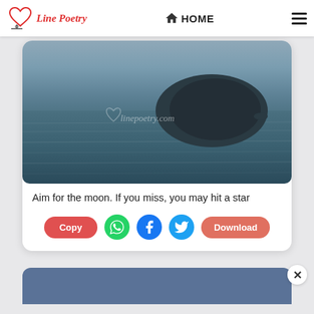Line Poetry | HOME
[Figure (photo): A dark rocky island/hill emerging from a calm blue-grey ocean, with the watermark 'linepoetry.com' overlaid in the center.]
Aim for the moon. If you miss, you may hit a star
Copy | WhatsApp | Facebook | Twitter | Download
[Figure (photo): Partially visible second card with dark blue-grey header background.]